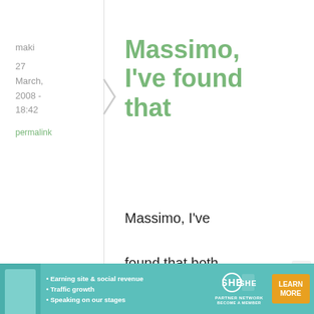maki
27 March, 2008 - 18:42
permalink
Massimo, I've found that
Massimo, I've found that both Vegemite and Marmite keep fine at room temperature
[Figure (infographic): SHE Partner Network advertisement banner with photo, bullet points about earning site & social revenue, traffic growth, speaking on stages, and a Learn More button]